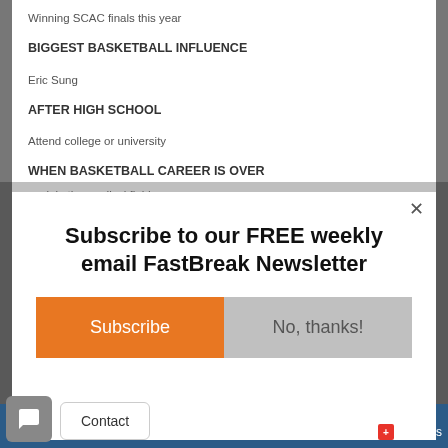Winning SCAC finals this year
BIGGEST BASKETBALL INFLUENCE
Eric Sung
AFTER HIGH SCHOOL
Attend college or university
WHEN BASKETBALL CAREER IS OVER
work in the medical field
[Figure (screenshot): Modal popup with newsletter subscription prompt: 'Subscribe to our FREE weekly email FastBreak Newsletter' with orange Subscribe button and grey No, thanks! button, plus close X button]
Subscribe to our FREE weekly email FastBreak Newsletter
Subscribe
No, thanks!
Contact
AddThis